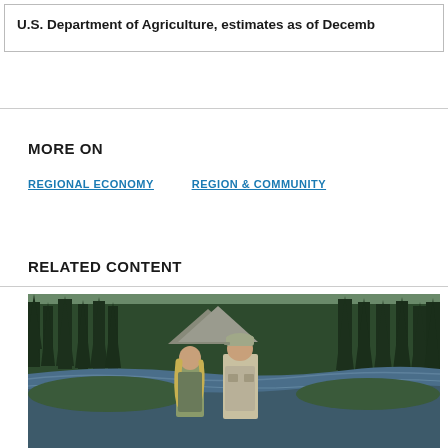U.S. Department of Agriculture, estimates as of Decemb
MORE ON
REGIONAL ECONOMY
REGION & COMMUNITY
RELATED CONTENT
[Figure (photo): Two people — a woman with blonde hair and a man in a cap and vest — standing near a river with dense pine trees in the background, in an outdoor/wilderness setting.]